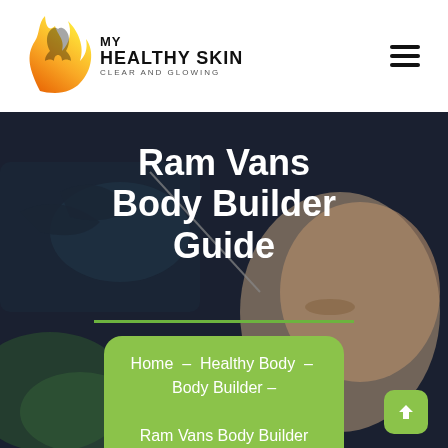[Figure (logo): My Healthy Skin - Clear and Glowing logo with orange/yellow flame and face silhouette]
[Figure (photo): Background hero image showing a person receiving a skin treatment procedure with gloved hands holding a device near face]
Ram Vans Body Builder Guide
Home – Healthy Body – Body Builder – Ram Vans Body Builder Guide